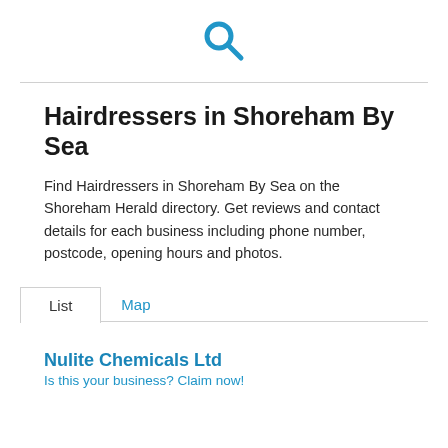[Figure (other): Blue search magnifying glass icon]
Hairdressers in Shoreham By Sea
Find Hairdressers in Shoreham By Sea on the Shoreham Herald directory. Get reviews and contact details for each business including phone number, postcode, opening hours and photos.
List   Map
Nulite Chemicals Ltd
Is this your business? Claim now!